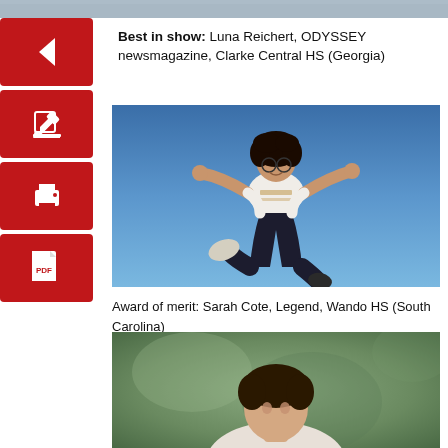[Figure (photo): Cropped strip of a photo at the very top of the page]
Best in show: Luna Reichert, ODYSSEY newsmagazine, Clarke Central HS (Georgia)
[Figure (photo): Person jumping in the air against a blue sky background, arms outstretched, smiling, wearing white top and dark pants]
Award of merit: Sarah Cote, Legend, Wando HS (South Carolina)
[Figure (photo): Portrait photo of a person with a green/grey mottled background, showing head and shoulders]